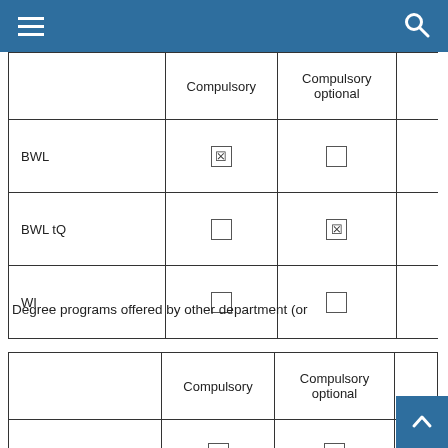Navigation bar with menu and search
|  | Compulsory | Compulsory optional |  |
| --- | --- | --- | --- |
| BWL | ☑ | ☐ |  |
| BWL tQ | ☐ | ☑ |  |
| WI | ☐ | ☐ |  |
Degree programs offered by other department (or
|  | Compulsory | Compulsory optional |  |
| --- | --- | --- | --- |
|  | ☐ | ☐ |  |